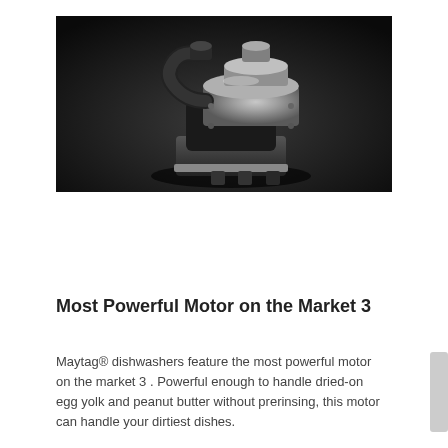[Figure (photo): Black and white photograph of a dishwasher motor/pump assembly, a complex mechanical component with cylindrical housing, pipes, and connectors, displayed against a dark background.]
Most Powerful Motor on the Market 3
Maytag® dishwashers feature the most powerful motor on the market 3 . Powerful enough to handle dried-on egg yolk and peanut butter without prerinsing, this motor can handle your dirtiest dishes.